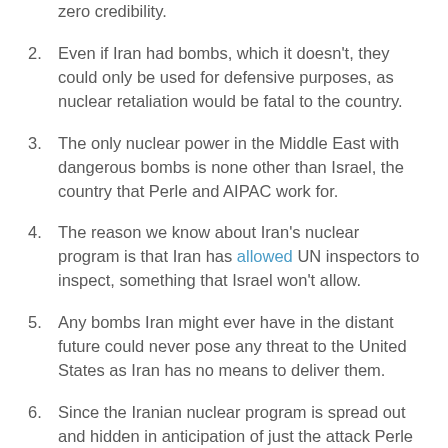zero credibility.
Even if Iran had bombs, which it doesn't, they could only be used for defensive purposes, as nuclear retaliation would be fatal to the country.
The only nuclear power in the Middle East with dangerous bombs is none other than Israel, the country that Perle and AIPAC work for.
The reason we know about Iran's nuclear program is that Iran has allowed UN inspectors to inspect, something that Israel won't allow.
Any bombs Iran might ever have in the distant future could never pose any threat to the United States as Iran has no means to deliver them.
Since the Iranian nuclear program is spread out and hidden in anticipation of just the attack Perle is calling for, bombs wouldn't stop it.